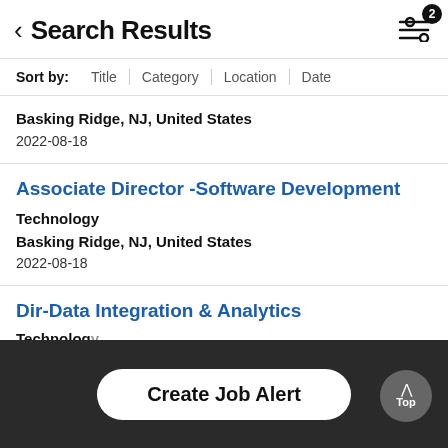Search Results
Sort by: Title | Category | Location | Date
Basking Ridge, NJ, United States
2022-08-18
Associate Director -Software Development
Technology
Basking Ridge, NJ, United States
2022-08-18
Dir-Data Integration & Analytics
Technology
Basking Ridge, NJ, United States